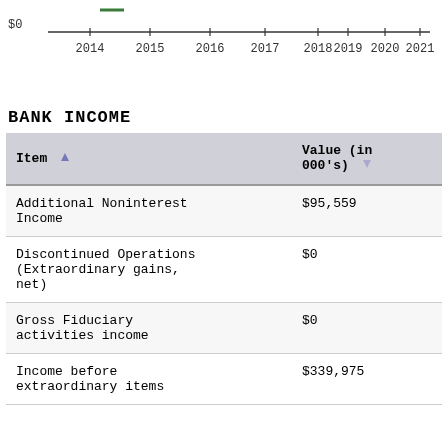[Figure (line-chart): ]
BANK INCOME
| Item | Value (in 000's) |
| --- | --- |
| Additional Noninterest Income | $95,559 |
| Discontinued Operations (Extraordinary gains, net) | $0 |
| Gross Fiduciary activities income | $0 |
| Income before extraordinary items | $339,975 |